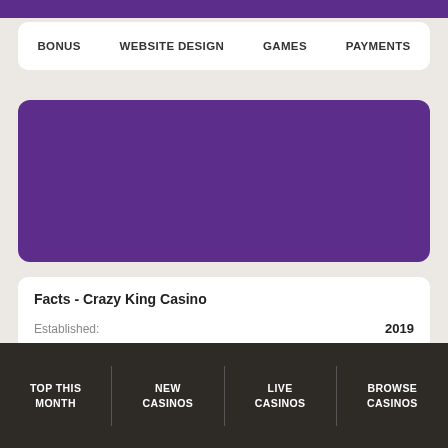BONUS
WEBSITE DESIGN
GAMES
PAYMENTS
[Figure (illustration): Solid purple rectangle with rounded corners, representing a casino logo or banner placeholder]
Facts - Crazy King Casino
Established: 2019
TOP THIS MONTH | NEW CASINOS | LIVE CASINOS | BROWSE CASINOS